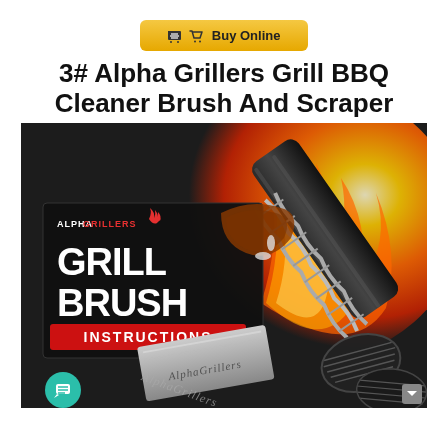[Figure (other): Buy Online button with shopping cart icon, golden/yellow gradient background]
3# Alpha Grillers Grill BBQ Cleaner Brush And Scraper
[Figure (photo): Product photo of Alpha Grillers Grill Brush with the instruction booklet showing 'ALPHA GRILLERS GRILL BRUSH INSTRUCTIONS' text in front of fire/flame background, alongside the stainless steel grill brush with black handle and twisted wire bristles.]